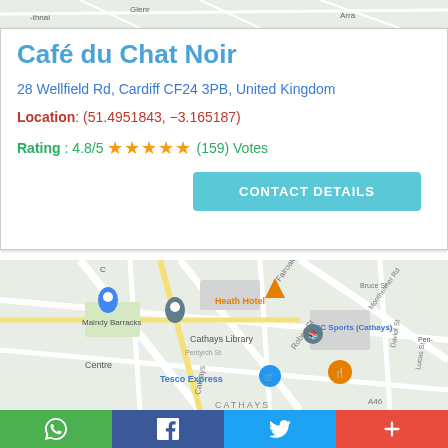[Figure (map): Partial street map view at top of page, cropped]
Café du Chat Noir
28 Wellfield Rd, Cardiff CF24 3PB, United Kingdom
Location: (51.4951843, −3.165187)
Rating: 4.8/5 ★★★★★ (159) Votes
CONTACT DETAILS
[Figure (map): Street map of Cardiff area showing Heath Hotel, Maindy Barracks, Cathays Library, Tesco Express, YC Sports (Cathays), Centre, and a restaurant pin marker]
WhatsApp | Facebook | Twitter | More